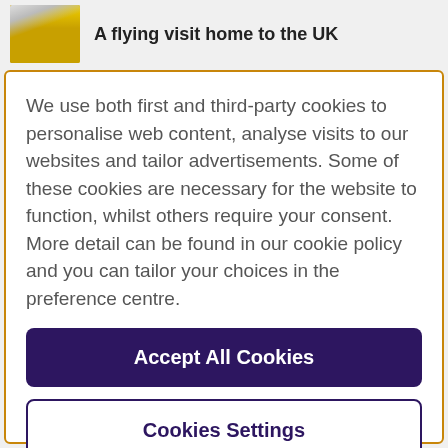A flying visit home to the UK
We use both first and third-party cookies to personalise web content, analyse visits to our websites and tailor advertisements. Some of these cookies are necessary for the website to function, whilst others require your consent. More detail can be found in our cookie policy and you can tailor your choices in the preference centre.
Accept All Cookies
Cookies Settings